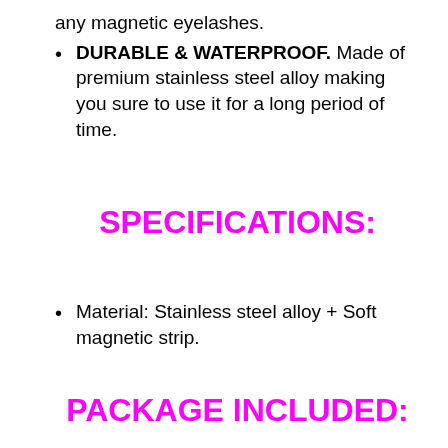any magnetic eyelashes.
DURABLE & WATERPROOF. Made of premium stainless steel alloy making you sure to use it for a long period of time.
SPECIFICATIONS:
Material: Stainless steel alloy + Soft magnetic strip.
PACKAGE INCLUDED: